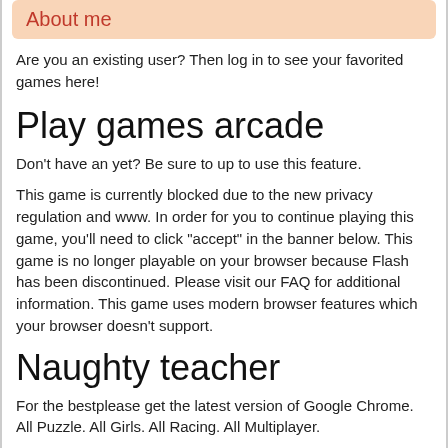About me
Are you an existing user? Then log in to see your favorited games here!
Play games arcade
Don't have an yet? Be sure to up to use this feature.
This game is currently blocked due to the new privacy regulation and www. In order for you to continue playing this game, you'll need to click "accept" in the banner below. This game is no longer playable on your browser because Flash has been discontinued. Please visit our FAQ for additional information. This game uses modern browser features which your browser doesn't support.
Naughty teacher
For the bestplease get the latest version of Google Chrome. All Puzzle. All Girls. All Racing. All Multiplayer.